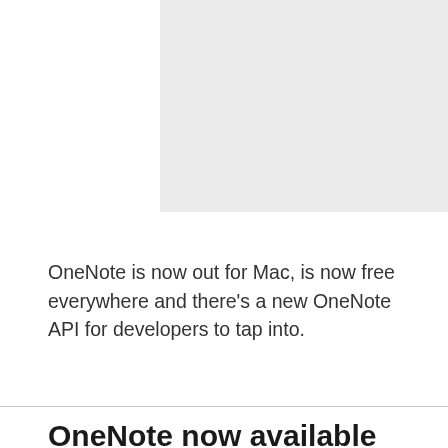[Figure (other): Light gray placeholder image area at the top of the page]
OneNote is now out for Mac, is now free everywhere and there's a new OneNote API for developers to tap into.
OneNote now available for Mac